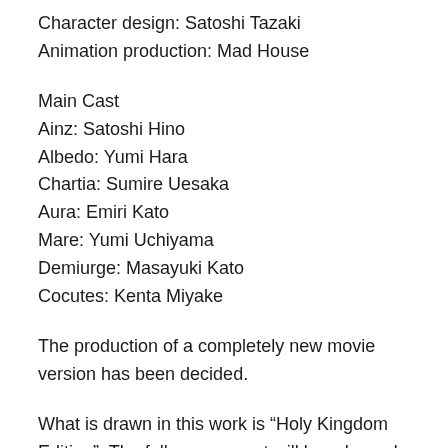Character design: Satoshi Tazaki
Animation production: Mad House
Main Cast
Ainz: Satoshi Hino
Albedo: Yumi Hara
Chartia: Sumire Uesaka
Aura: Emiri Kato
Mare: Yumi Uchiyama
Demiurge: Masayuki Kato
Cocutes: Kenta Miyake
The production of a completely new movie version has been decided.
What is drawn in this work is “Holy Kingdom Edition”. The follow-up report will be released again.
Original Maruyama Kugane